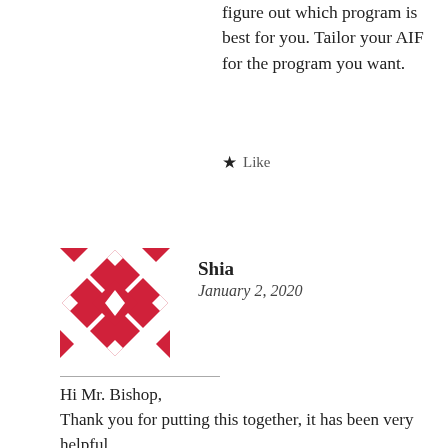figure out which program is best for you. Tailor your AIF for the program you want.
★ Like
[Figure (illustration): Red decorative quilt-pattern avatar icon for user Shia]
Shia
January 2, 2020
Hi Mr. Bishop,
Thank you for putting this together, it has been very helpful.
I am feeling unsure about applying to Waterloo's Computer Engineering program as it is quite competitive. I am also interested in